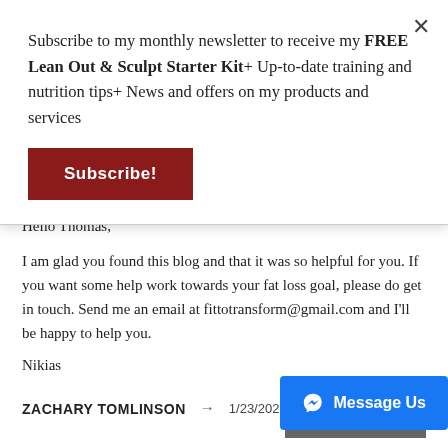Subscribe to my monthly newsletter to receive my FREE Lean Out & Sculpt Starter Kit+ Up-to-date training and nutrition tips+ News and offers on my products and services
Subscribe!
Hello Thomas,
I am glad you found this blog and that it was so helpful for you. If you want some help work towards your fat loss goal, please do get in touch. Send me an email at fittotransform@gmail.com and I'll be happy to help you.
Nikias
REPLY
ZACHARY TOMLINSON → 1/23/2022 09:
Message Us